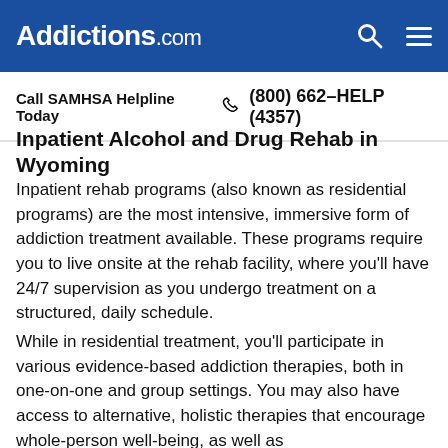Addictions.com
Call SAMHSA Helpline Today  (800) 662-HELP (4357)
Inpatient Alcohol and Drug Rehab in Wyoming
Inpatient rehab programs (also known as residential programs) are the most intensive, immersive form of addiction treatment available. These programs require you to live onsite at the rehab facility, where you'll have 24/7 supervision as you undergo treatment on a structured, daily schedule.
While in residential treatment, you'll participate in various evidence-based addiction therapies, both in one-on-one and group settings. You may also have access to alternative, holistic therapies that encourage whole-person well-being, as well as